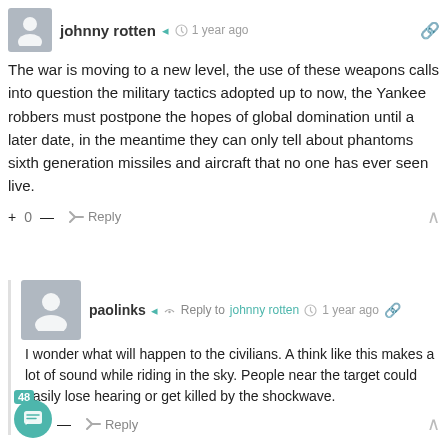johnny rotten · 1 year ago
The war is moving to a new level, the use of these weapons calls into question the military tactics adopted up to now, the Yankee robbers must postpone the hopes of global domination until a later date, in the meantime they can only tell about phantoms sixth generation missiles and aircraft that no one has ever seen live.
+ 0 — Reply
paolinks · Reply to johnny rotten · 1 year ago
I wonder what will happen to the civilians. A think like this makes a lot of sound while riding in the sky. People near the target could easily lose hearing or get killed by the shockwave.
+ 0 — Reply